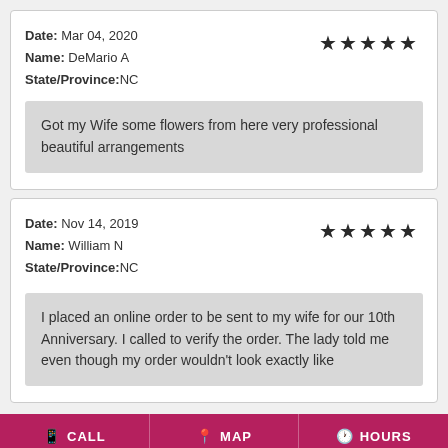Date: Mar 04, 2020
Name: DeMario A
State/Province:NC
★★★★★
Got my Wife some flowers from here very professional beautiful arrangements
Date: Nov 14, 2019
Name: William N
State/Province:NC
★★★★★
I placed an online order to be sent to my wife for our 10th Anniversary. I called to verify the order. The lady told me even though my order wouldn't look exactly like...
CALL   MAP   HOURS